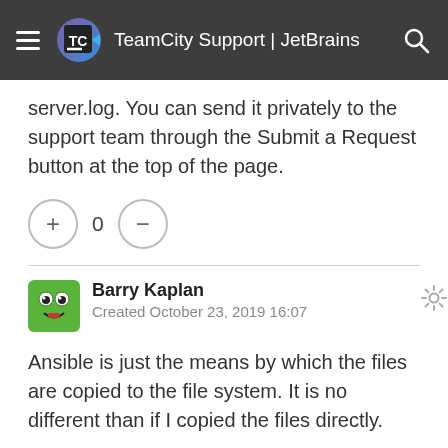TeamCity Support | JetBrains
server.log. You can send it privately to the support team through the Submit a Request button at the top of the page.
[Figure (other): Vote counter with plus button, count of 0, and minus button]
[Figure (illustration): Green cartoon monster avatar for Barry Kaplan]
Barry Kaplan
Created October 23, 2019 16:07
Ansible is just the means by which the files are copied to the file system. It is no different than if I copied the files directly.
If we were to keep using the meta-runners I would be happy to help debug. But now that we converted to kotlin, we will fully convert all the